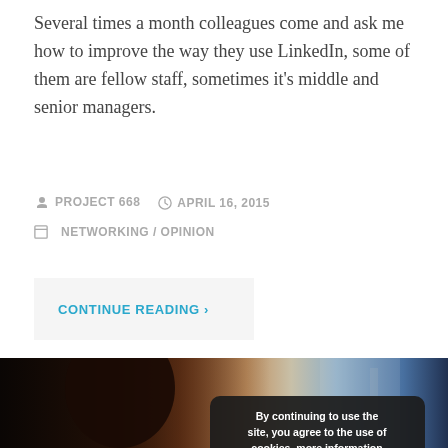Several times a month colleagues come and ask me how to improve the way they use LinkedIn, some of them are fellow staff, sometimes it's middle and senior managers.
PROJECT 668   APRIL 16, 2015
NETWORKING / OPINION
CONTINUE READING ›
[Figure (photo): A woman in profile looking toward a window with a blurred background, with a cookie consent overlay dialog in the center reading 'By continuing to use the site, you agree to the use of cookies. more information' and an ACCEPT button.]